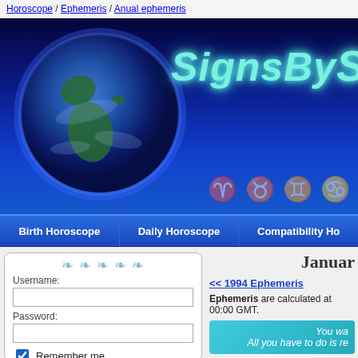Horoscope / Ephemeris / Anual ephemeris
[Figure (screenshot): Website banner with dark blue background showing a globe (Earth) on left and 'SignsBy' text in glowing teal/cyan on right, with faded zodiac symbols along the bottom right]
Birth Horoscope | Daily Horoscope | Compatibility Ho
Username:
Password:
Remember me
Login
Sign Up (FREE)
Forgot your password?
Januar
<< 1994 Ephemeris
Ephemeris are calculated at 00:00 GMT.
You wa All you have to do is re